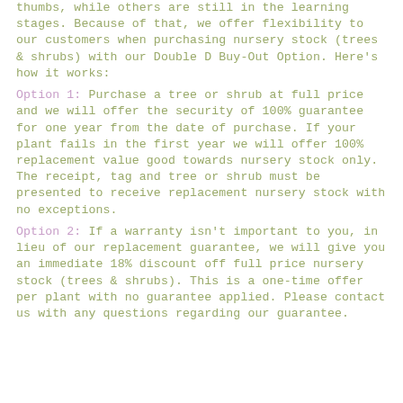thumbs, while others are still in the learning stages. Because of that, we offer flexibility to our customers when purchasing nursery stock (trees & shrubs) with our Double D Buy-Out Option. Here's how it works:
Option 1: Purchase a tree or shrub at full price and we will offer the security of 100% guarantee for one year from the date of purchase. If your plant fails in the first year we will offer 100% replacement value good towards nursery stock only. The receipt, tag and tree or shrub must be presented to receive replacement nursery stock with no exceptions.
Option 2: If a warranty isn't important to you, in lieu of our replacement guarantee, we will give you an immediate 18% discount off full price nursery stock (trees & shrubs). This is a one-time offer per plant with no guarantee applied. Please contact us with any questions regarding our guarantee.